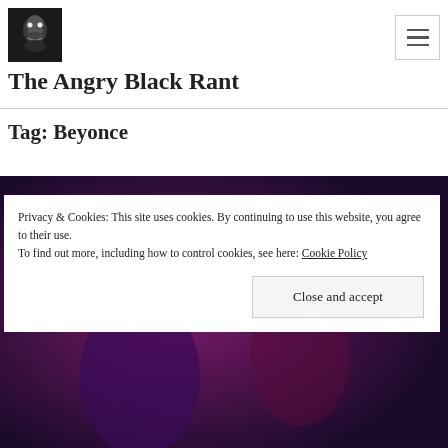[Figure (photo): Black and white close-up photo of a person's face with an intense expression, used as site logo]
The Angry Black Rant
Tag: Beyonce
[Figure (photo): Dark purple/magenta toned concert or performance photo in the background]
Privacy & Cookies: This site uses cookies. By continuing to use this website, you agree to their use.
To find out more, including how to control cookies, see here: Cookie Policy
Close and accept